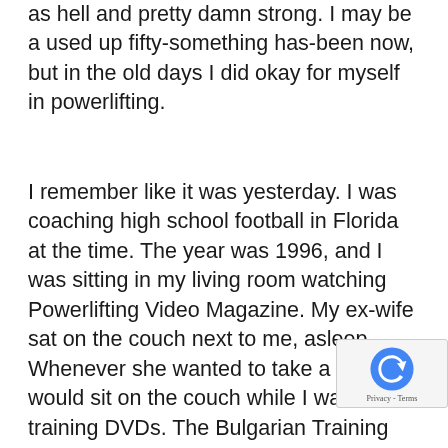as hell and pretty damn strong. I may be a used up fifty-something has-been now, but in the old days I did okay for myself in powerlifting.
I remember like it was yesterday. I was coaching high school football in Florida at the time. The year was 1996, and I was sitting in my living room watching Powerlifting Video Magazine. My ex-wife sat on the couch next to me, asleep. Whenever she wanted to take a nap, she would sit on the couch while I watched training DVDs. The Bulgarian Training Hall tapes put her to sleep the fastest, but this powerlifting video was doing the trick also.
I had purchased the copy of Powerlifter Video Magazine on a whim and when I turned it on, a behemoth named Kirk Karwoski was pacing a gym floor in Maryland with a Walkman on. He then proceeded to take off the Wa... throw it against the wall, strutted over to the bar tha... loaded with plates while people gathered around...
[Figure (logo): reCAPTCHA badge with spinning arrow logo and Privacy - Terms text]